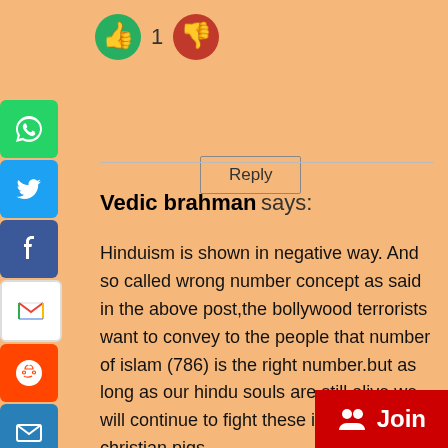[Figure (infographic): Thumbs up (green circle) vote button, count '1', and thumbs down (red circle) vote button]
[Figure (infographic): Social share sidebar with icons: WhatsApp (green), Twitter (blue), Facebook (blue), Gmail (red/white), Reddit (orange), Email (blue), Pinterest (red), Tumblr (dark), LinkedIn (blue), Share+ (blue)]
Reply
Vedic brahman says:
Hinduism is shown in negative way. And so called wrong number concept as said in the above post,the bollywood terrorists want to convey to the people that number of islam (786) is the right number.but as long as our hindu souls are still alive we will continue to fight these islam and christian pigs .
[Figure (infographic): Red Join button with people icon in bottom right corner]